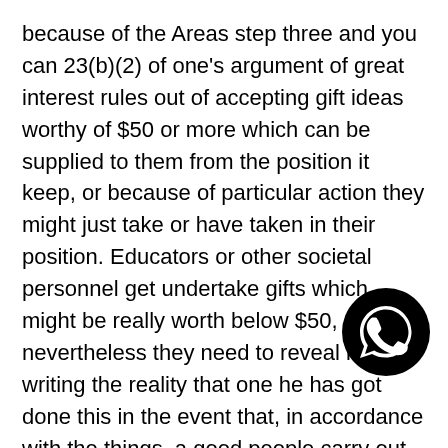because of the Areas step three and you can 23(b)(2) of one's argument of great interest rules out of accepting gift ideas worthy of $50 or more which can be supplied to them from the position it keep, or because of particular action they might just take or have taken in their position. Educators or other societal personnel get undertake gifts which might be really worth below $50, nevertheless they need to reveal in writing the reality that one he has got done this in the event that, in accordance with the things, a good people carry out think that the fresh professor you will unduly show favor to the brand new giver or perhaps the giver's guy of the current. G.L. c. 268A, § 23(b)(3). For this reason, if or not you'll be able to accept the fresh current utilizes its worth, and you may whether you need to disclose a gift you're permitted to undertake utilizes this new points.
Classification Merchandise: The new Payment a exception to this rule within its regulations at 930 5.08(14) to permit class gifts to help you instructors in some
[Figure (logo): WhatsApp logo — white speech bubble with phone handset icon on black circular background]